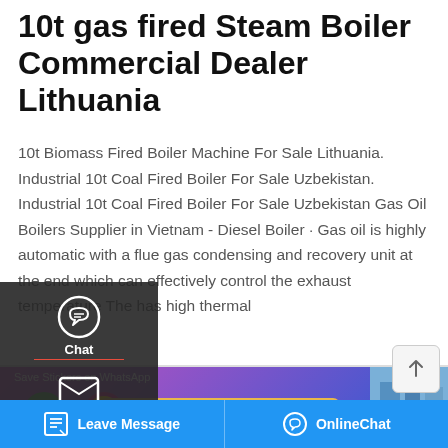10t gas fired Steam Boiler Commercial Dealer Lithuania
10t Biomass Fired Boiler Machine For Sale Lithuania. Industrial 10t Coal Fired Boiler For Sale Uzbekistan. Industrial 10t Coal Fired Boiler For Sale Uzbekistan Gas Oil Boilers Supplier in Vietnam - Diesel Boiler · Gas oil is highly automatic with a flue gas condensing and recovery unit at the end which can effectively control the exhaust temperature The has high thermal
[Figure (screenshot): Left sidebar overlay with dark background showing Chat icon (headset), Email icon (envelope), and Contact icon (speech bubble), each with a red underline divider]
[Figure (screenshot): Get a Quote button in golden/yellow color]
[Figure (screenshot): Save Stickers on WhatsApp banner with gradient purple background and sticker icons]
[Figure (screenshot): Blue industrial boiler image section on the right]
[Figure (screenshot): Bottom blue bar with Leave Message and OnlineChat buttons]